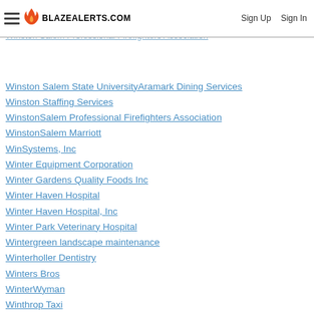BLAZEALERTS.COM | Sign Up | Sign In
Winston Retail
Winston Salem Dermatology & Surgery Center
Winston Salem Professional Firefighters Association
Winston Salem State UniversityAramark Dining Services
Winston Staffing Services
WinstonSalem Professional Firefighters Association
WinstonSalem Marriott
WinSystems, Inc
Winter Equipment Corporation
Winter Gardens Quality Foods Inc
Winter Haven Hospital
Winter Haven Hospital, Inc
Winter Park Veterinary Hospital
Wintergreen landscape maintenance
Winterholler Dentistry
Winters Bros
WinterWyman
Winthrop Taxi
Winthrop University Hospital
Wintrust Mortgage
WinWholesale
Winzeler Stamping Company
Wipeco, Inc and CTC Supplies